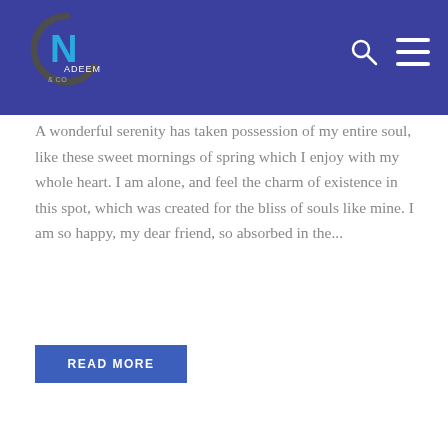[Figure (logo): Nadeem & Co logo with circular C shape and stylized N letter on a dark blue/purple header bar]
A wonderful serenity has taken possession of my entire soul, like these sweet mornings of spring which I enjoy with my whole heart. I am alone, and feel the charm of existence in this spot, which was created for the bliss of souls like mine. I am so happy, my dear friend, so absorbed in the...
READ MORE